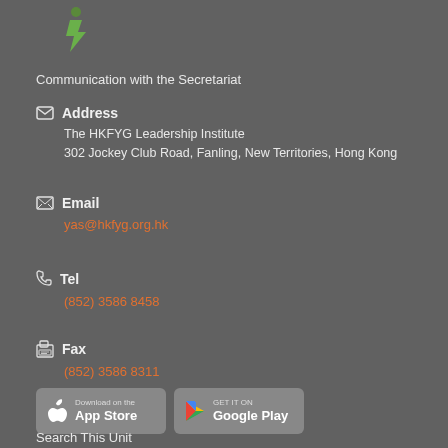[Figure (logo): Green lightning bolt / person icon logo]
Communication with the Secretariat
Address
The HKFYG Leadership Institute
302 Jockey Club Road, Fanling, New Territories, Hong Kong
Email
yas@hkfyg.org.hk
Tel
(852) 3586 8458
Fax
(852) 3586 8311
[Figure (other): App Store and Google Play download buttons]
Search This Unit